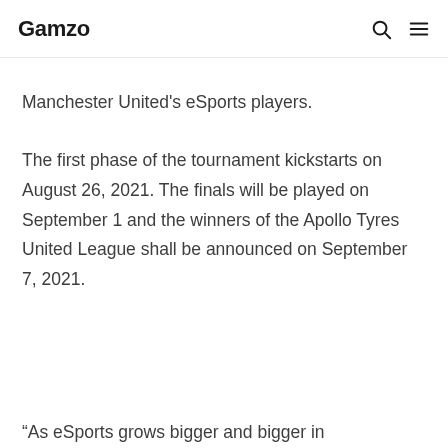Gamzo
the chance to play in-person against Manchester United's eSports players.
The first phase of the tournament kickstarts on August 26, 2021. The finals will be played on September 1 and the winners of the Apollo Tyres United League shall be announced on September 7, 2021.
“As eSports grows bigger and bigger in